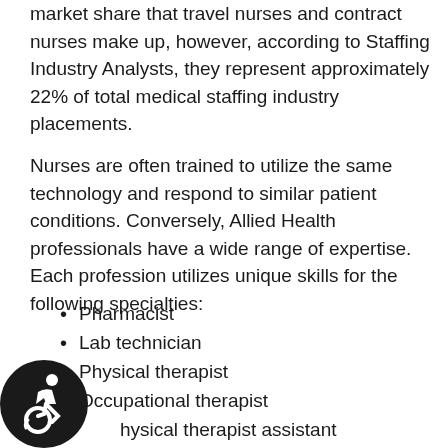market share that travel nurses and contract nurses make up, however, according to Staffing Industry Analysts, they represent approximately 22% of total medical staffing industry placements.
Nurses are often trained to utilize the same technology and respond to similar patient conditions. Conversely, Allied Health professionals have a wide range of expertise. Each profession utilizes unique skills for the following specialties:
Pharmacist
Lab technician
Physical therapist
Occupational therapist
Physical therapist assistant
Cardiovascular technologist
Speech-language pathologist